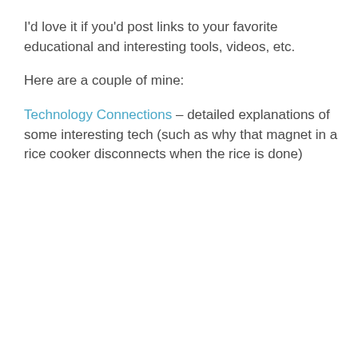I'd love it if you'd post links to your favorite educational and interesting tools, videos, etc.
Here are a couple of mine:
Technology Connections – detailed explanations of some interesting tech (such as why that magnet in a rice cooker disconnects when the rice is done)